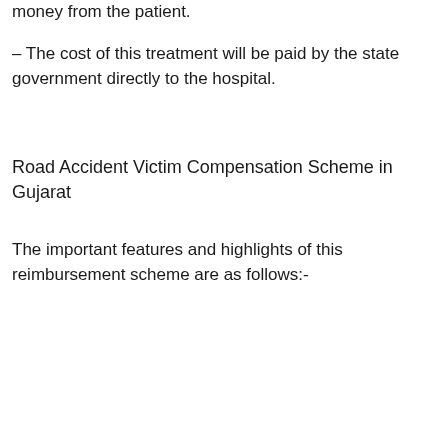money from the patient.
– The cost of this treatment will be paid by the state government directly to the hospital.
Road Accident Victim Compensation Scheme in Gujarat
The important features and highlights of this reimbursement scheme are as follows:-